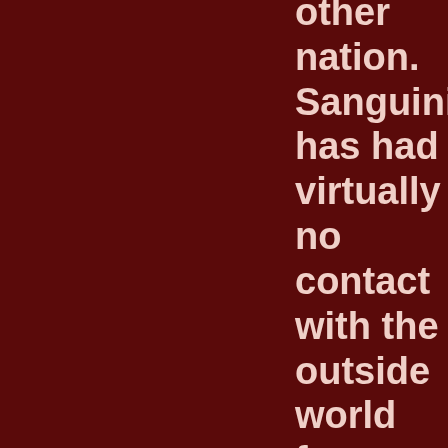other nation. Sanguinia has had virtually no contact with the outside world for generations. Hunters